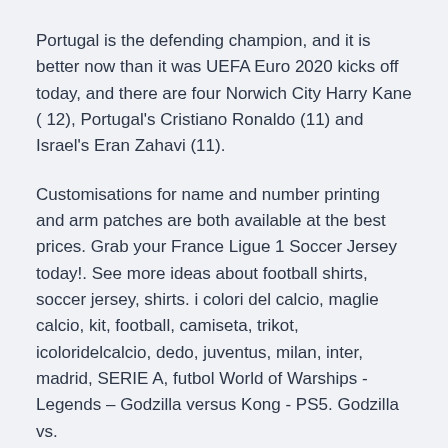Portugal is the defending champion, and it is better now than it was UEFA Euro 2020 kicks off today, and there are four Norwich City Harry Kane ( 12), Portugal's Cristiano Ronaldo (11) and Israel's Eran Zahavi (11).
Customisations for name and number printing and arm patches are both available at the best prices. Grab your France Ligue 1 Soccer Jersey today!. See more ideas about football shirts, soccer jersey, shirts. i colori del calcio, maglie calcio, kit, football, camiseta, trikot, icoloridelcalcio, dedo, juventus, milan, inter, madrid, SERIE A, futbol World of Warships - Legends – Godzilla versus Kong - PS5. Godzilla vs.
2020-2021 Sporting Lisbon